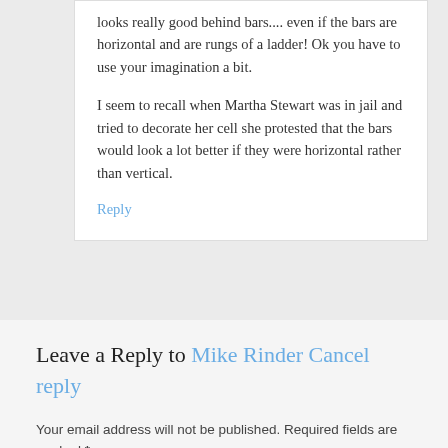looks really good behind bars.... even if the bars are horizontal and are rungs of a ladder! Ok you have to use your imagination a bit.
I seem to recall when Martha Stewart was in jail and tried to decorate her cell she protested that the bars would look a lot better if they were horizontal rather than vertical.
Reply
Leave a Reply to Mike Rinder Cancel reply
Your email address will not be published. Required fields are marked *